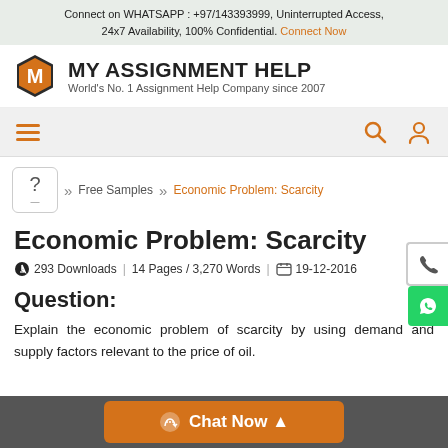Connect on WHATSAPP : +97/143393999, Uninterrupted Access, 24x7 Availability, 100% Confidential. Connect Now
[Figure (logo): My Assignment Help logo with orange hexagon M icon and text 'MY ASSIGNMENT HELP, World's No. 1 Assignment Help Company since 2007']
[Figure (screenshot): Navigation bar with hamburger menu icon and search/user icons]
Free Samples >> Economic Problem: Scarcity
Economic Problem: Scarcity
293 Downloads | 14 Pages / 3,270 Words | 19-12-2016
Question:
Explain the economic problem of scarcity by using demand and supply factors relevant to the price of oil.